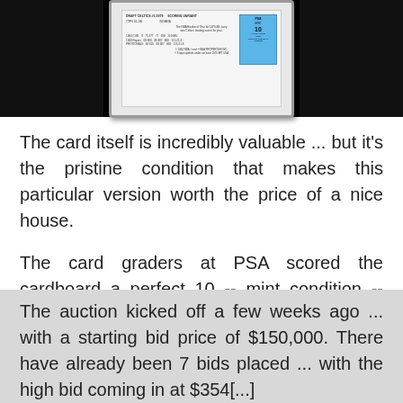[Figure (photo): A PSA-graded basketball card (Larry Bird rookie card) displayed in a hard plastic case, flanked by black panels on left and right.]
The card itself is incredibly valuable ... but it's the pristine condition that makes this particular version worth the price of a nice house.
The card graders at PSA scored the cardboard a perfect 10 -- mint condition -- making it 1 of only 24 copies known to exist, according to SCP.
The auction kicked off a few weeks ago ... with a starting bid price of $150,000. There have already been 7 bids placed ... with the high bid coming in at $354[,]...